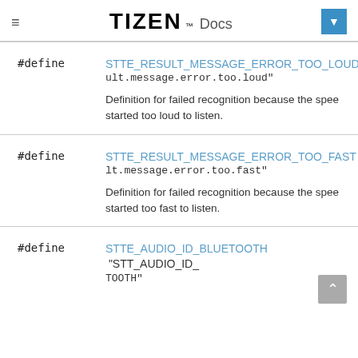TIZEN™ Docs
#define STTE_RESULT_MESSAGE_ERROR_TOO_LOUD   ult.message.error.too.loud"

Definition for failed recognition because the speech started too loud to listen.
#define STTE_RESULT_MESSAGE_ERROR_TOO_FAST   lt.message.error.too.fast"

Definition for failed recognition because the speech started too fast to listen.
#define STTE_AUDIO_ID_BLUETOOTH   "STT_AUDIO_ID_BLUETOOTH"